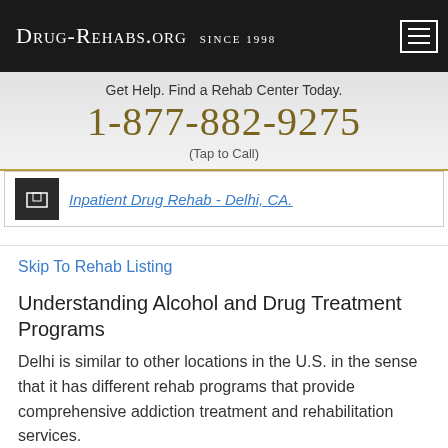Drug-Rehabs.org Since 1998
Get Help. Find a Rehab Center Today.
1-877-882-9275
(Tap to Call)
Inpatient Drug Rehab - Delhi, CA.
Skip To Rehab Listing
Understanding Alcohol and Drug Treatment Programs
Delhi is similar to other locations in the U.S. in the sense that it has different rehab programs that provide comprehensive addiction treatment and rehabilitation services.